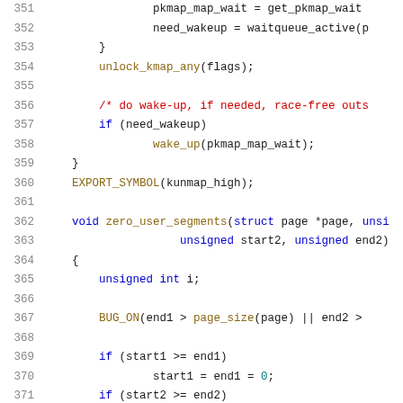Code listing lines 351-371, C source code
351: pkmap_map_wait = get_pkmap_wait...
352: need_wakeup = waitqueue_active(p...
353: }
354: unlock_kmap_any(flags);
355: (blank)
356: /* do wake-up, if needed, race-free outs...
357: if (need_wakeup)
358: wake_up(pkmap_map_wait);
359: }
360: EXPORT_SYMBOL(kunmap_high);
361: (blank)
362: void zero_user_segments(struct page *page, unsi...
363: unsigned start2, unsigned end2)
364: {
365: unsigned int i;
366: (blank)
367: BUG_ON(end1 > page_size(page) || end2 >...
368: (blank)
369: if (start1 >= end1)
370: start1 = end1 = 0;
371: if (start2 >= end2)